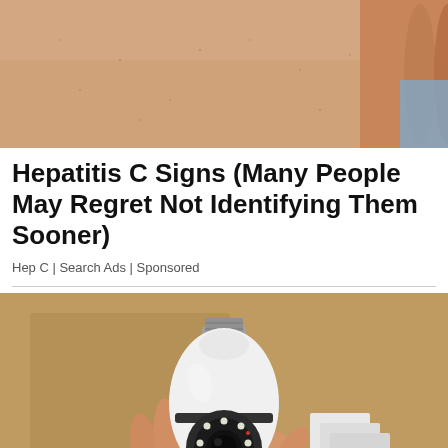[Figure (photo): Close-up photo of skin, possibly showing a medical condition, with a hand/fingers visible on the right side wearing a blue garment.]
Hepatitis C Signs (Many People May Regret Not Identifying Them Sooner)
Hep C | Search Ads | Sponsored
[Figure (photo): A person's hand holding a white light-bulb-shaped security camera with a visible lens and LED lights, against a cardboard box background.]